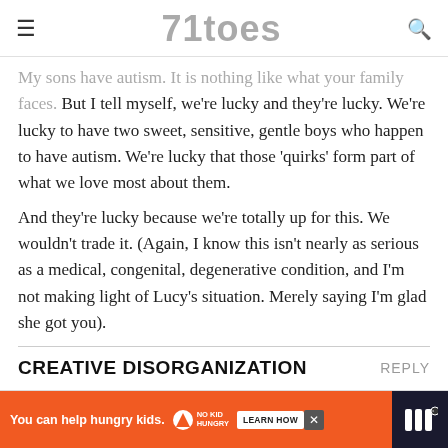71toes
My sons have autism. It is nothing like what your family faces. But I tell myself, we're lucky and they're lucky. We're lucky to have two sweet, sensitive, gentle boys who happen to have autism. We're lucky that those 'quirks' form part of what we love most about them.
And they're lucky because we're totally up for this. We wouldn't trade it. (Again, I know this isn't nearly as serious as a medical, congenital, degenerative condition, and I'm not making light of Lucy's situation. Merely saying I'm glad she got you).
CREATIVE DISORGANIZATION
REPLY
[Figure (infographic): Advertisement banner: orange background with 'You can help hungry kids.' text, No Kid Hungry logo, and 'LEARN HOW' button. Close button and dark right panel with streaming service icon.]